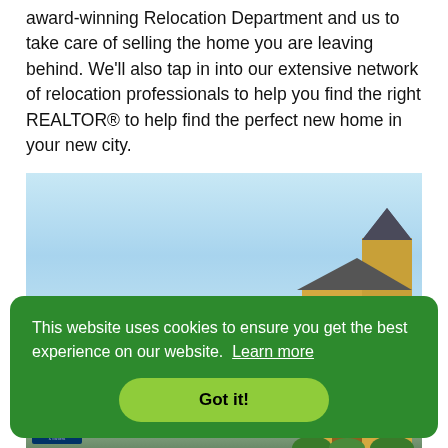award-winning Relocation Department and us to take care of selling the home you are leaving behind. We'll also tap in into our extensive network of relocation professionals to help you find the right REALTOR® to help find the perfect new home in your new city.
[Figure (photo): Photo of a large Victorian-style house with a pointed tower/turret on the right side, set against a blue sky with light clouds. A Better Homes and Gardens logo strip is visible at the bottom left.]
This website uses cookies to ensure you get the best experience on our website. Learn more
Got it!